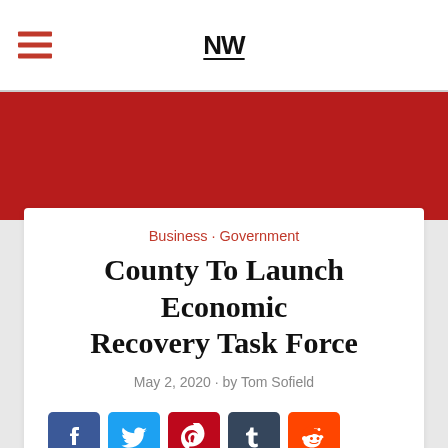NW (logo with hamburger menu)
[Figure (other): Red banner / advertisement area below navigation]
Business · Government
County To Launch Economic Recovery Task Force
May 2, 2020 • by Tom Sofield
[Figure (other): Social share icons: Facebook, Twitter, Pinterest, Tumblr, Reddit; Save button and up-arrow scroll button]